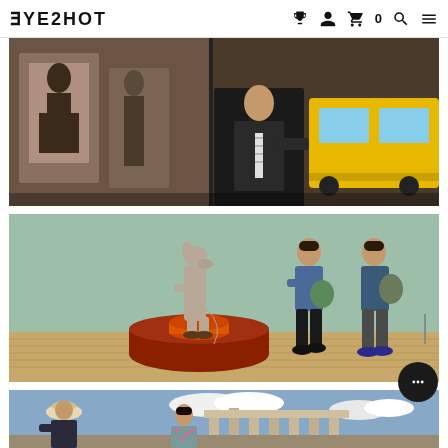EYESHOT
[Figure (photo): Street photography scene: storefront with fashion poster on left, man in suit with striped tie exiting a yellow taxi on right]
[Figure (photo): Museum or gallery interior: humanoid dog sculpture on red mound/base, two young men leaning against mint green wall in background]
[Figure (photo): Tourist scene at ancient ruins (possibly Acropolis, Athens): woman in hat on left, woman in floral dress on right, ancient temple columns in background under cloudy sky]